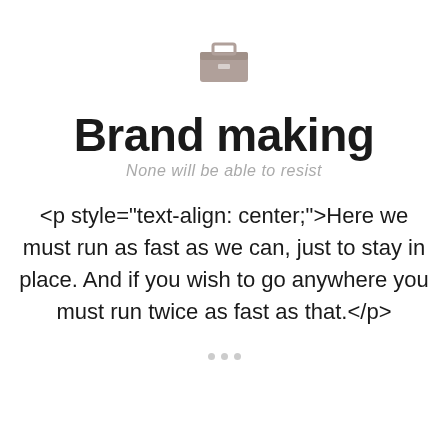[Figure (illustration): A small grey briefcase/toolbox icon centered near the top of the page]
Brand making
None will be able to resist
<p style="text-align: center;">Here we must run as fast as we can, just to stay in place. And if you wish to go anywhere you must run twice as fast as that.</p>